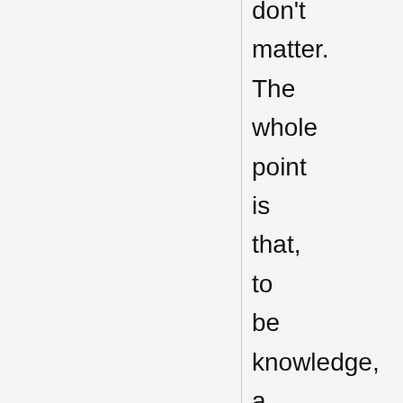don't matter. The whole point is that, to be knowledge, a belief has to have